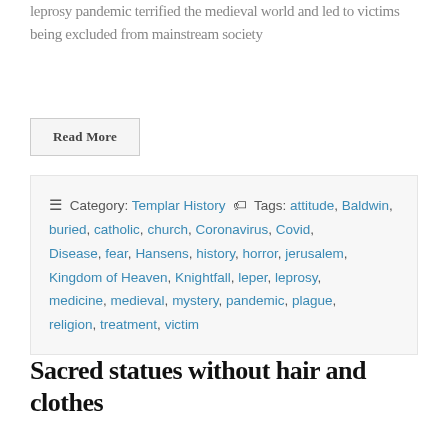leprosy pandemic terrified the medieval world and led to victims being excluded from mainstream society
Read More
≡ Category: Templar History 🏷 Tags: attitude, Baldwin, buried, catholic, church, Coronavirus, Covid, Disease, fear, Hansens, history, horror, jerusalem, Kingdom of Heaven, Knightfall, leper, leprosy, medicine, medieval, mystery, pandemic, plague, religion, treatment, victim
Sacred statues without hair and clothes